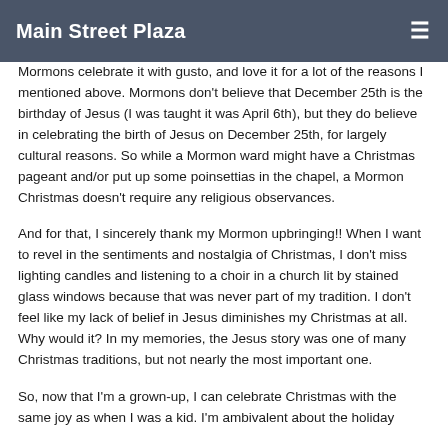Main Street Plaza
Mormons celebrate it with gusto, and love it for a lot of the reasons I mentioned above. Mormons don't believe that December 25th is the birthday of Jesus (I was taught it was April 6th), but they do believe in celebrating the birth of Jesus on December 25th, for largely cultural reasons. So while a Mormon ward might have a Christmas pageant and/or put up some poinsettias in the chapel, a Mormon Christmas doesn't require any religious observances.
And for that, I sincerely thank my Mormon upbringing!! When I want to revel in the sentiments and nostalgia of Christmas, I don't miss lighting candles and listening to a choir in a church lit by stained glass windows because that was never part of my tradition. I don't feel like my lack of belief in Jesus diminishes my Christmas at all. Why would it? In my memories, the Jesus story was one of many Christmas traditions, but not nearly the most important one.
So, now that I'm a grown-up, I can celebrate Christmas with the same joy as when I was a kid. I'm ambivalent about the holiday